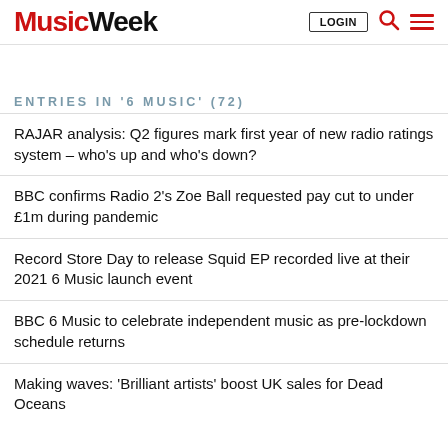Music Week | LOGIN | Search | Menu
ENTRIES IN '6 MUSIC' (72)
RAJAR analysis: Q2 figures mark first year of new radio ratings system – who's up and who's down?
BBC confirms Radio 2's Zoe Ball requested pay cut to under £1m during pandemic
Record Store Day to release Squid EP recorded live at their 2021 6 Music launch event
BBC 6 Music to celebrate independent music as pre-lockdown schedule returns
Making waves: 'Brilliant artists' boost UK sales for Dead Oceans